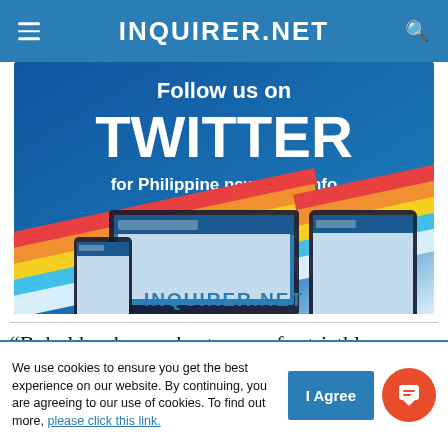INQUIRER.NET
[Figure (illustration): Advertisement banner: Follow us on TWITTER for Philippine news and info, with INQUIRER.NET branding, showing devices (laptop, tablet, phone) displaying the Twitter page of Inquirer.net, with a rainbow stripe design at the bottom.]
“Bohol has been a host venue for triathlon events
We use cookies to ensure you get the best experience on our website. By continuing, you are agreeing to our use of cookies. To find out more, please click this link.